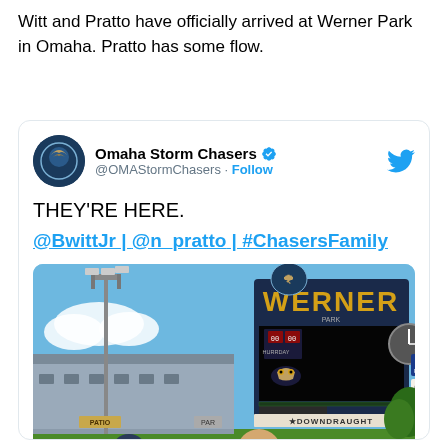Witt and Pratto have officially arrived at Werner Park in Omaha. Pratto has some flow.
[Figure (screenshot): Embedded tweet from @OMAStormChasers (Omaha Storm Chasers) with Twitter verified badge. Tweet text reads: THEY'RE HERE. @BwittJr | @n_pratto | #ChasersFamily. Includes a photo of two people standing in front of the Werner Park scoreboard in Omaha.]